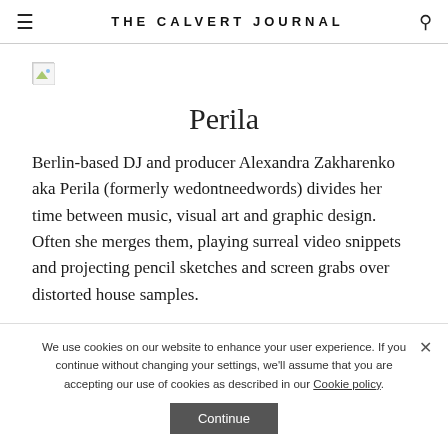THE CALVERT JOURNAL
[Figure (photo): Broken image placeholder icon]
Perila
Berlin-based DJ and producer Alexandra Zakharenko aka Perila (formerly wedontneedwords) divides her time between music, visual art and graphic design. Often she merges them, playing surreal video snippets and projecting pencil sketches and screen grabs over distorted house samples.
We use cookies on our website to enhance your user experience. If you continue without changing your settings, we'll assume that you are accepting our use of cookies as described in our Cookie policy.